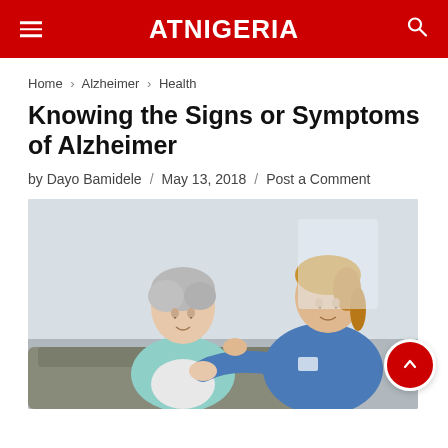ATNIGERIA
Home › Alzheimer › Health
Knowing the Signs or Symptoms of Alzheimer
by Dayo Bamidele / May 13, 2018 / Post a Comment
[Figure (photo): A female nurse in blue scrubs placing her hand on the shoulder of an elderly woman with gray hair, in a comforting gesture.]